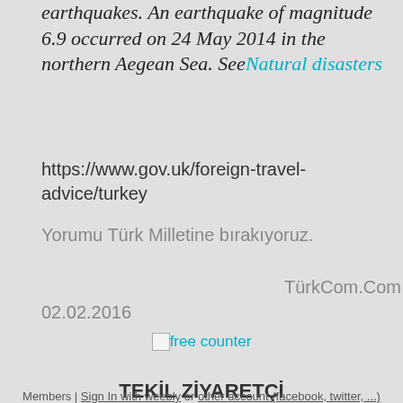earthquakes. An earthquake of magnitude 6.9 occurred on 24 May 2014 in the northern Aegean Sea. See Natural disasters
https://www.gov.uk/foreign-travel-advice/turkey
Yorumu Türk Milletine bırakıyoruz.
TürkCom.Com
02.02.2016
[Figure (other): Free counter widget with small checkbox icon and cyan link text 'free counter']
TEKİL ZİYARETÇİ
Members | Sign In with weebly or other account (facebook, twitter, ...)
Yorum Ekle
Search